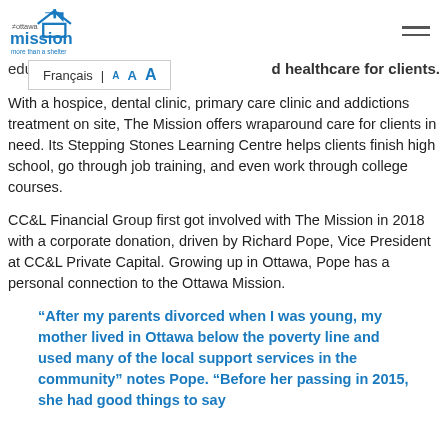The Ottawa Mission — more than a shelter
edu... d healthcare for clients.
Français | A A A
With a hospice, dental clinic, primary care clinic and addictions treatment on site, The Mission offers wraparound care for clients in need. Its Stepping Stones Learning Centre helps clients finish high school, go through job training, and even work through college courses.
CC&L Financial Group first got involved with The Mission in 2018 with a corporate donation, driven by Richard Pope, Vice President at CC&L Private Capital. Growing up in Ottawa, Pope has a personal connection to the Ottawa Mission.
“After my parents divorced when I was young, my mother lived in Ottawa below the poverty line and used many of the local support services in the community” notes Pope. “Before her passing in 2015, she had good things to say